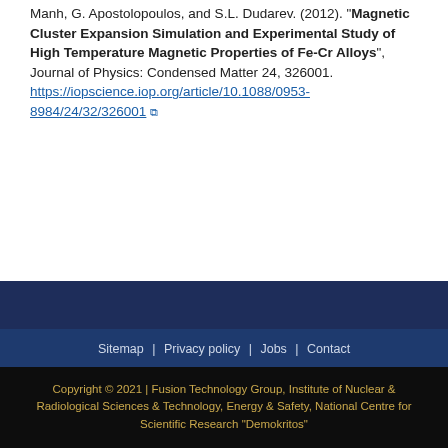Manh, G. Apostolopoulos, and S.L. Dudarev. (2012). "Magnetic Cluster Expansion Simulation and Experimental Study of High Temperature Magnetic Properties of Fe-Cr Alloys", Journal of Physics: Condensed Matter 24, 326001. https://iopscience.iop.org/article/10.1088/0953-8984/24/32/326001
Sitemap | Privacy policy | Jobs | Contact
Copyright © 2021 | Fusion Technology Group, Institute of Nuclear & Radiological Sciences & Technology, Energy & Safety, National Centre for Scientific Research "Demokritos"